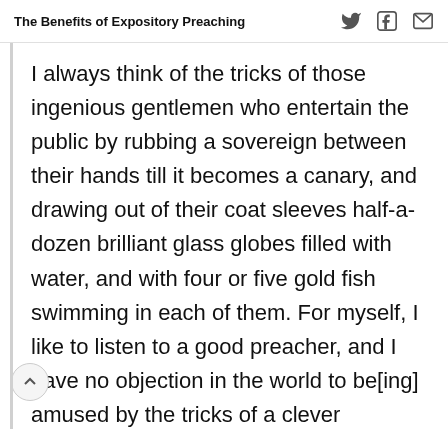The Benefits of Expository Preaching
I always think of the tricks of those ingenious gentlemen who entertain the public by rubbing a sovereign between their hands till it becomes a canary, and drawing out of their coat sleeves half-a-dozen brilliant glass globes filled with water, and with four or five gold fish swimming in each of them. For myself, I like to listen to a good preacher, and I have no objection in the world to be[ing] amused by the tricks of a clever conjurer; but prefer to keep the conjuring and the preaching separate: conjuring on Sunday